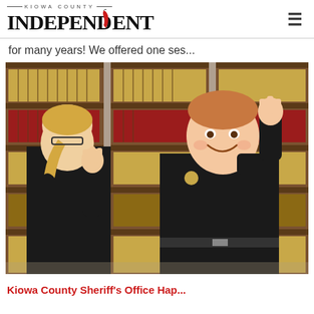Kiowa County Independent
for many years! We offered one ses...
[Figure (photo): Two people in black uniforms standing in front of a large wooden bookcase filled with law books. One person on the left with blonde hair in a ponytail faces away from camera with hand raised. The other person on the right, a larger young man with red hair, smiles and raises his right hand as if taking an oath.]
Kiowa County Sheriff's Office Hap...